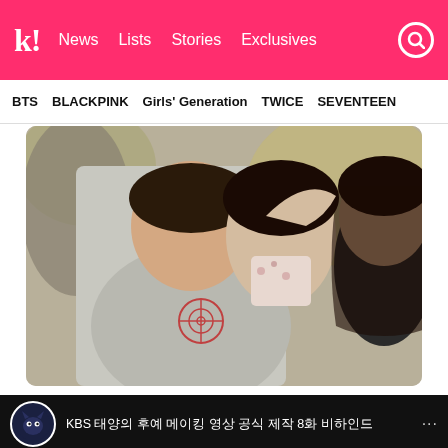k! News Lists Stories Exclusives
BTS BLACKPINK Girls' Generation TWICE SEVENTEEN
[Figure (photo): A young man in a grey hoodie with a target/crosshair graphic leans in toward a girl whose hair is being held up; another woman in dark clothing is visible to the right, in an outdoor setting with blurred foliage in background.]
Their adorable personalities on set definitely shone through on-screen.
[Figure (screenshot): Video thumbnail showing a cat icon circle logo and Korean text reading: KBS 태양의 후예 메이킹 영상 공식 제작 8화 비하인드]